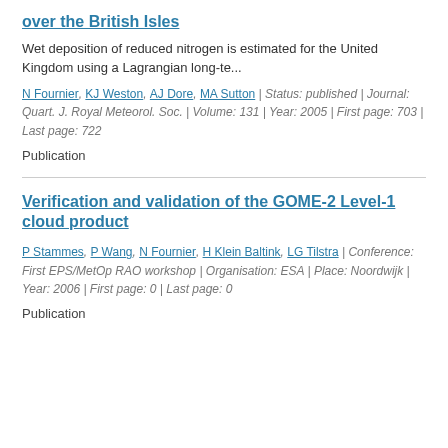over the British Isles
Wet deposition of reduced nitrogen is estimated for the United Kingdom using a Lagrangian long-te...
N Fournier, KJ Weston, AJ Dore, MA Sutton | Status: published | Journal: Quart. J. Royal Meteorol. Soc. | Volume: 131 | Year: 2005 | First page: 703 | Last page: 722
Publication
Verification and validation of the GOME-2 Level-1 cloud product
P Stammes, P Wang, N Fournier, H Klein Baltink, LG Tilstra | Conference: First EPS/MetOp RAO workshop | Organisation: ESA | Place: Noordwijk | Year: 2006 | First page: 0 | Last page: 0
Publication